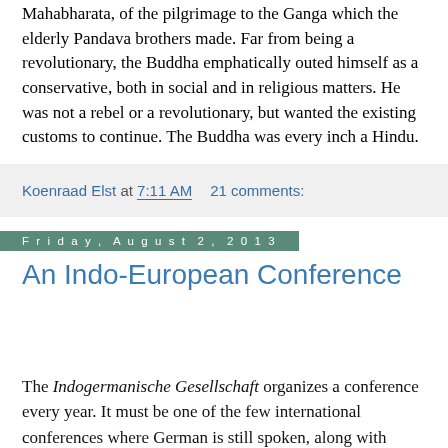Mahabharata, of the pilgrimage to the Ganga which the elderly Pandava brothers made. Far from being a revolutionary, the Buddha emphatically outed himself as a conservative, both in social and in religious matters. He was not a rebel or a revolutionary, but wanted the existing customs to continue. The Buddha was every inch a Hindu.
Koenraad Elst at 7:11 AM   21 comments:
Friday, August 2, 2013
An Indo-European Conference
The Indogermanische Gesellschaft organizes a conference every year. It must be one of the few international conferences where German is still spoken, along with English. I don't know why I had never gone there, but this time (29-31 July 2013) I did. It was held in Leiden in the main building of the university administration, on the second floor. The painting on the back wall showed the